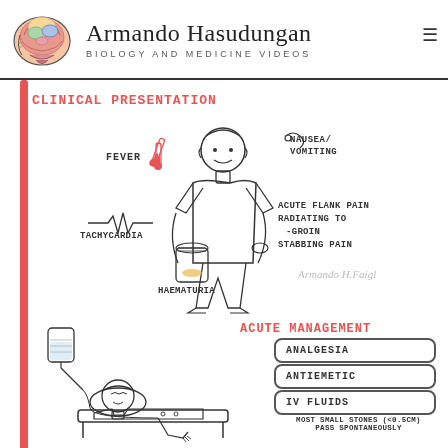Armando Hasudungan — Biology and Medicine Videos
CLINICAL PRESENTATION
[Figure (illustration): Hand-drawn sketch of a person showing symptoms: fever (thermometer), nausea/vomiting, tachycardia (ECG line), acute flank pain radiating to groin, stabbing pain, haematuria (jar with orange residue). Also shows a patient lying in bed with IV drip.]
FEVER
NAUSEA/ VOMITING
TACHYCARDIA
ACUTE FLANK PAIN RADIATING TO -GROIN STABBING PAIN
HAEMATURIA
Armando H. Faigl
ACUTE MANAGEMENT
ANALGESIA
ANTIEMETIC
IV FLUIDS
MOST SMALL STONES (<0.5cm) PASS SPONTANEOUSLY
PERCUTANEOUS NEPHROLITHOTOMY
URETERIC STENT INSERTION